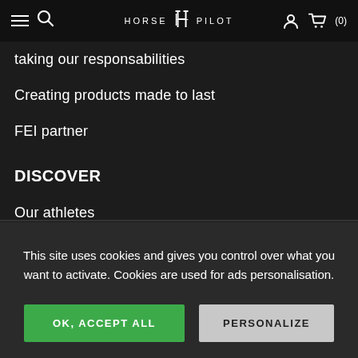HORSE PILOT (0)
Taking our responsabilities
Creating products made to last
FEI partner
DISCOVER
Our athletes
This site uses cookies and gives you control over what you want to activate. Cookies are used for ads personalisation.
OK, ACCEPT ALL
PERSONALIZE